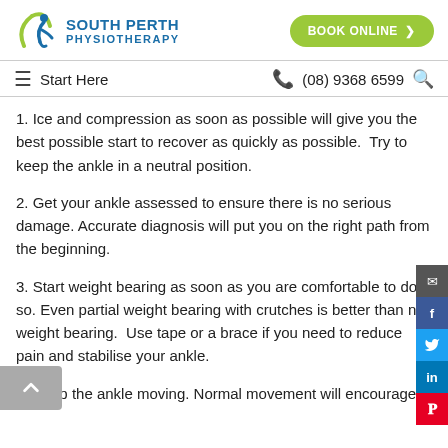SOUTH PERTH PHYSIOTHERAPY | BOOK ONLINE
Start Here | (08) 9368 6599
1. Ice and compression as soon as possible will give you the best possible start to recover as quickly as possible.  Try to keep the ankle in a neutral position.
2. Get your ankle assessed to ensure there is no serious damage. Accurate diagnosis will put you on the right path from the beginning.
3. Start weight bearing as soon as you are comfortable to do so. Even partial weight bearing with crutches is better than no weight bearing.  Use tape or a brace if you need to reduce pain and stabilise your ankle.
4. Keep the ankle moving. Normal movement will encourage...